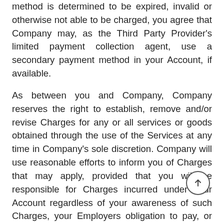method is determined to be expired, invalid or otherwise not able to be charged, you agree that Company may, as the Third Party Provider's limited payment collection agent, use a secondary payment method in your Account, if available.
As between you and Company, Company reserves the right to establish, remove and/or revise Charges for any or all services or goods obtained through the use of the Services at any time in Company's sole discretion. Company will use reasonable efforts to inform you of Charges that may apply, provided that you will be responsible for Charges incurred under your Account regardless of your awareness of such Charges, your Employers obligation to pay, or the amounts thereof. Company may from time to time provide certain users with promotional offers and discounts that may result in different amounts charged for the same or similar services or goods obtained through the use of the Services and you